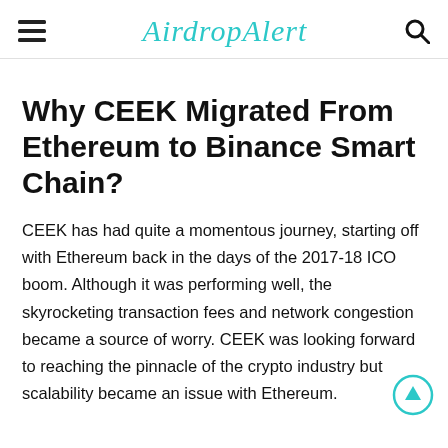AirdropAlert
Why CEEK Migrated From Ethereum to Binance Smart Chain?
CEEK has had quite a momentous journey, starting off with Ethereum back in the days of the 2017-18 ICO boom. Although it was performing well, the skyrocketing transaction fees and network congestion became a source of worry. CEEK was looking forward to reaching the pinnacle of the crypto industry but scalability became an issue with Ethereum.